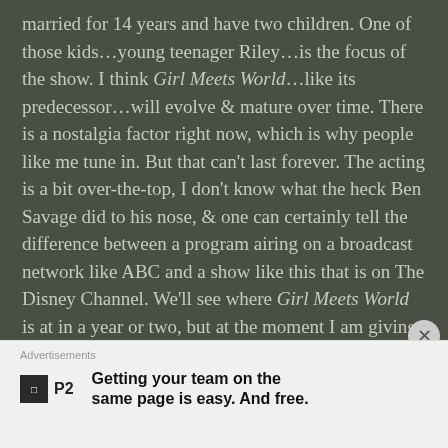married for 14 years and have two children. One of those kids…young teenager Riley…is the focus of the show. I think Girl Meets World…like its predecessor…will evolve & mature over time. There is a nostalgia factor right now, which is why people like me tune in. But that can't last forever. The acting is a bit over-the-top, I don't know what the heck Ben Savage did to his nose, & one can certainly tell the difference between a program airing on a broadcast network like ABC and a show like this that is on The Disney Channel. We'll see where Girl Meets World is at in a year or two, but at the moment I am giving it a tentative thumbs up.
Advertisements
Getting your team on the same page is easy. And free.